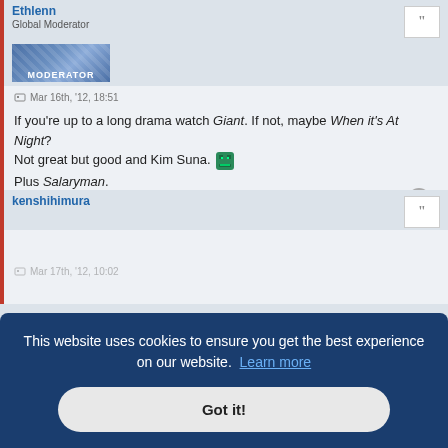Ethlenn
Global Moderator
[Figure (illustration): Moderator avatar banner with blue gradient and text MODERATOR]
Mar 16th, '12, 18:51
If you're up to a long drama watch Giant. If not, maybe When it's At Night? Not great but good and Kim Suna. [emoji] Plus Salaryman.
kenshihimura
This website uses cookies to ensure you get the best experience on our website. Learn more
Got it!
Ethlenn
Global Moderator